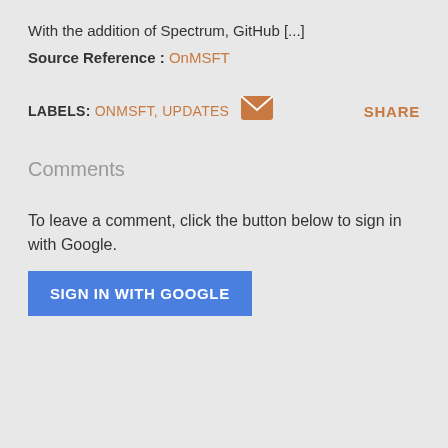With the addition of Spectrum, GitHub [...]
Source Reference : OnMSFT
LABELS: ONMSFT, UPDATES   SHARE
Comments
To leave a comment, click the button below to sign in with Google.
SIGN IN WITH GOOGLE